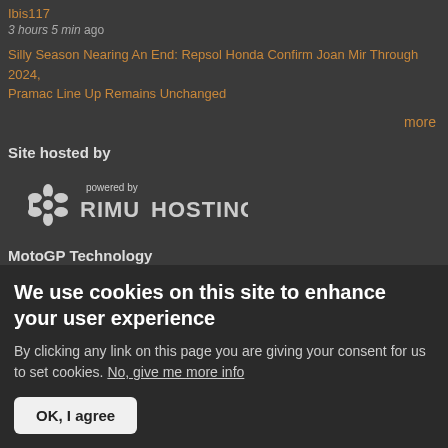Ibis117
3 hours 5 min ago
Silly Season Nearing An End: Repsol Honda Confirm Joan Mir Through 2024, Pramac Line Up Remains Unchanged
more
Site hosted by
[Figure (logo): Rimu Hosting logo — powered by RIMUHOSTING text with a stylized icon]
MotoGP Technology
Buy Neil Spalding's essential guide to the technology of MotoGP
We use cookies on this site to enhance your user experience
By clicking any link on this page you are giving your consent for us to set cookies. No, give me more info
OK, I agree